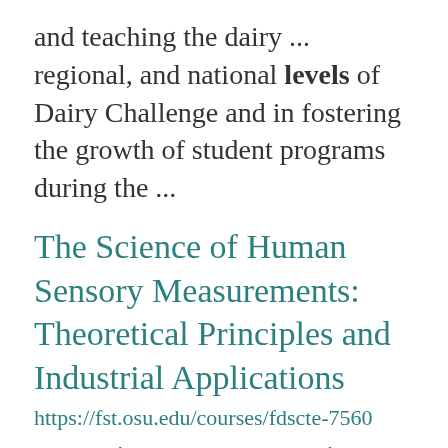and teaching the dairy ... regional, and national levels of Dairy Challenge and in fostering the growth of student programs during the ...
The Science of Human Sensory Measurements: Theoretical Principles and Industrial Applications
https://fst.osu.edu/courses/fdscte-7560 perception measurements in sensory evaluation with a focus on sensory discrimination testing. This course ...